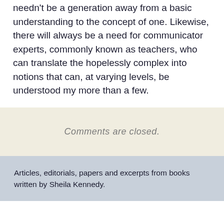needn't be a generation away from a basic understanding to the concept of one. Likewise, there will always be a need for communicator experts, commonly known as teachers, who can translate the hopelessly complex into notions that can, at varying levels, be understood my more than a few.
Comments are closed.
Articles, editorials, papers and excerpts from books written by Sheila Kennedy.